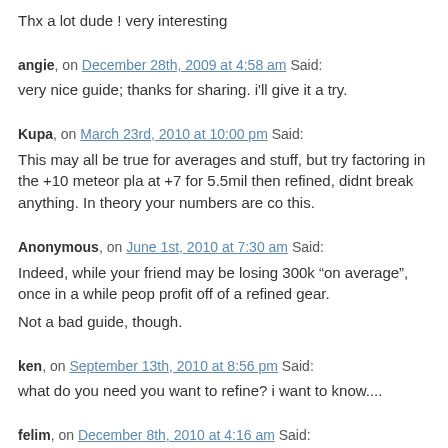Thx a lot dude ! very interesting
angie, on December 28th, 2009 at 4:58 am Said:
very nice guide; thanks for sharing. i'll give it a try.
Kupa, on March 23rd, 2010 at 10:00 pm Said:
This may all be true for averages and stuff, but try factoring in the +10 meteor pla at +7 for 5.5mil then refined, didnt break anything. In theory your numbers are co this.
Anonymous, on June 1st, 2010 at 7:30 am Said:
Indeed, while your friend may be losing 300k “on average”, once in a while peop profit off of a refined gear.
Not a bad guide, though.
ken, on September 13th, 2010 at 8:56 pm Said:
what do you need you want to refine? i want to know....
felim, on December 8th, 2010 at 4:16 am Said: